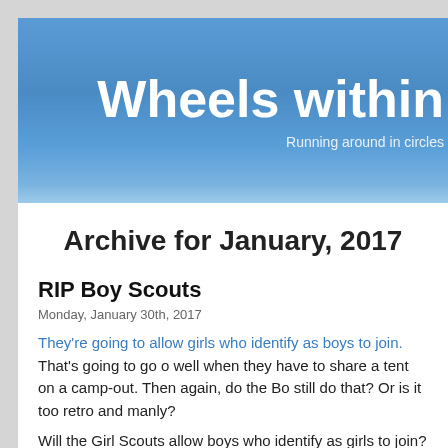Wheels within
Running around in circles
Archive for January, 2017
RIP Boy Scouts
Monday, January 30th, 2017
They're going to allow girls who identify as boys to join. That's going to go over well when they have to share a tent on a camp-out. Then again, do the Bo still do that? Or is it too retro and manly?
Will the Girl Scouts allow boys who identify as girls to join? If not, why not?